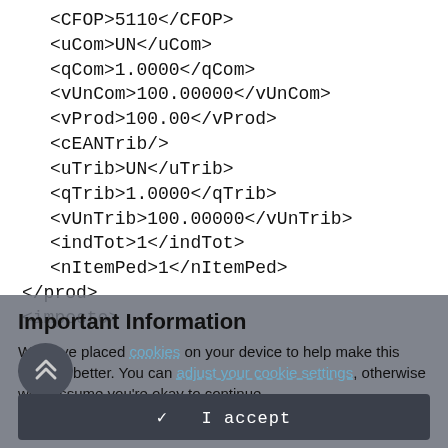<CFOP>5110</CFOP>
<uCom>UN</uCom>
<qCom>1.0000</qCom>
<vUnCom>100.00000</vUnCom>
<vProd>100.00</vProd>
<cEANTrib/>
<uTrib>UN</uTrib>
<qTrib>1.0000</qTrib>
<vUnTrib>100.00000</vUnTrib>
<indTot>1</indTot>
<nItemPed>1</nItemPed>
</prod>
<imposto>
Important Information
We have placed cookies on your device to help make this website better. You can adjust your cookie settings, otherwise we'll assume you're okay to continue.
✓  I accept